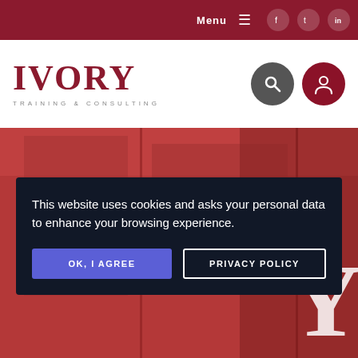Menu  Facebook  Twitter  LinkedIn
[Figure (logo): Ivory Training & Consulting logo with search and account icons]
[Figure (photo): Dark red tinted hero image of a building/cityscape with large letter Y visible]
This website uses cookies and asks your personal data to enhance your browsing experience.
OK, I AGREE
PRIVACY POLICY